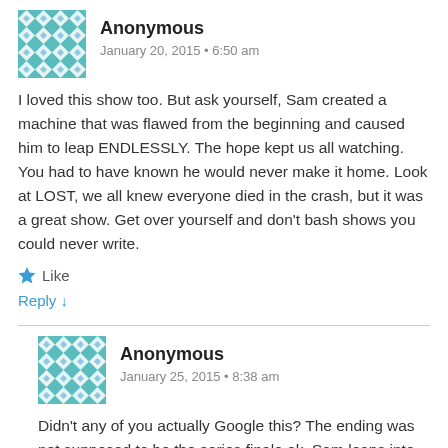Anonymous
January 20, 2015 • 6:50 am
I loved this show too. But ask yourself, Sam created a machine that was flawed from the beginning and caused him to leap ENDLESSLY. The hope kept us all watching. You had to have known he would never make it home. Look at LOST, we all knew everyone died in the crash, but it was a great show. Get over yourself and don't bash shows you could never write.
Like
Reply ↓
Anonymous
January 25, 2015 • 8:38 am
Didn't any of you actually Google this? The ending was not supposed to be the series finale ok, Sam leaps into the bar and that nice good ole bartender is an alien. He's not god or anything like it.